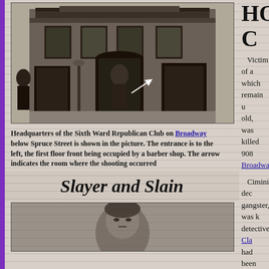[Figure (photo): Black and white photograph of the Headquarters of the Sixth Ward Republican Club on Broadway below Spruce Street, showing the building facade with entrance to the left and first floor front occupied by a barber shop. An arrow indicates the room where the shooting occurred.]
Headquarters of the Sixth Ward Republican Club on Broadway below Spruce Street is shown in the picture. The entrance is to the left, the first floor front being occupied by a barber shop. The arrow indicates the room where the shooting occurred
Slayer and Slain
[Figure (photo): Partial black and white portrait photograph, bottom portion visible, head of a person.]
HOLDU C
Victim of a which remain u old, was killed 908 Broadway.
Cimini, dec gangster, was k detectives, Cla had been summ was in progress
Joseph Dev associates as “I Third Ward po.
Declaring th Cimini struck h was locked up